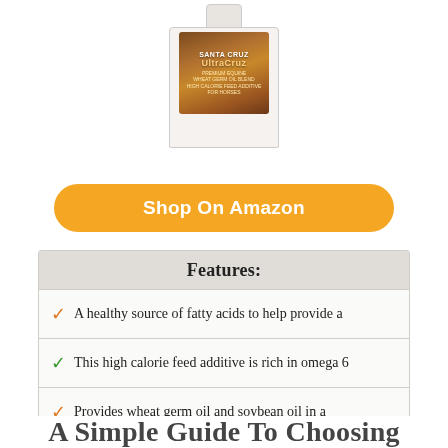[Figure (photo): UltraCruz product bottle/jug on white background]
Shop On Amazon
| Features: |
| --- |
| A healthy source of fatty acids to help provide a |
| This high calorie feed additive is rich in omega 6 |
| Provides wheat germ oil and soybean oil in a |
| High levels of vitamin e to help with overall health |
| Supplied as 1 gallon |
A Simple Guide To Choosing